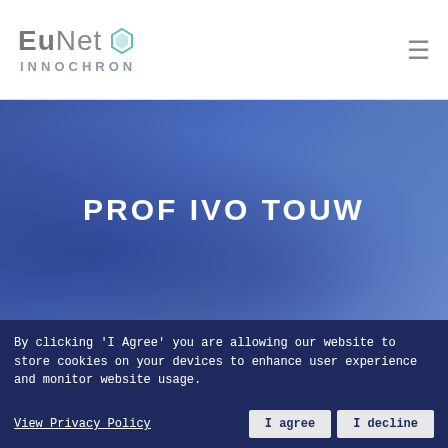[Figure (logo): EuNet Innochron logo with hexagonal icon]
[Figure (photo): Blue-tinted blurred hero background image of a medical/research scene]
PROF IVO TOUW
By clicking 'I Agree' you are allowing our website to store cookies on your devices to enhance user experience and monitor website usage.
View Privacy Policy
I agree
I decline